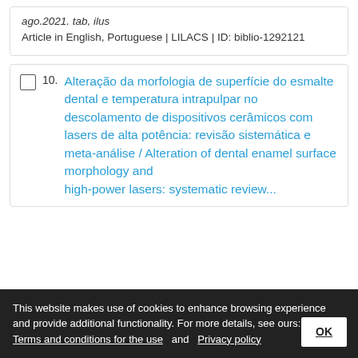ago.2021. tab, ilus
Article in English, Portuguese | LILACS | ID: biblio-1292121
10. Alteração da morfologia de superfície do esmalte dental e temperatura intrapulpar no descolamento de dispositivos cerâmicos com lasers de alta potência: revisão sistemática e meta-análise / Alteration of dental enamel surface morphology and intrapulpar temperature in debonding of ceramic devices with high-power lasers: systematic review
This website makes use of cookies to enhance browsing experience and provide additional functionality. For more details, see ours: Terms and conditions for the use and Privacy policy